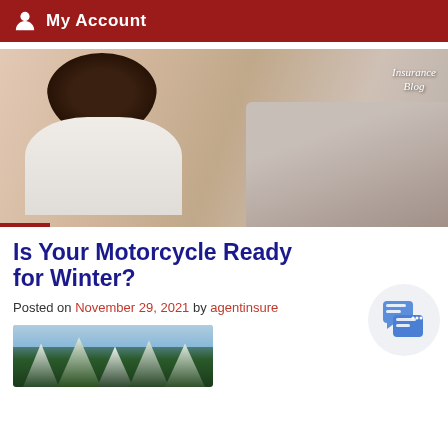My Account
[Figure (photo): Woman smiling while using a laptop, seated, wearing white sleeveless top. Insurance Blog label in top-right corner.]
Is Your Motorcycle Ready for Winter?
Posted on November 29, 2021 by agentinsure
[Figure (photo): Snow-covered pine trees in winter landscape.]